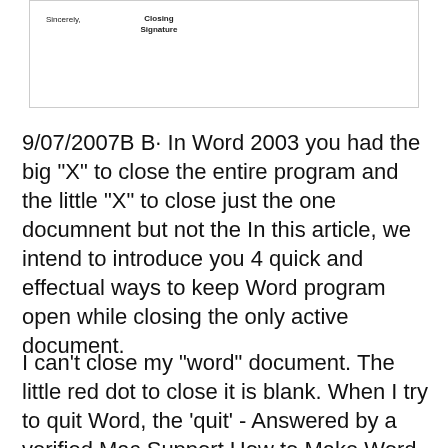[Figure (other): Partial letter template showing 'Sincerely,' on the left and 'Closing Signature' on the right, enclosed in a bordered box]
9/07/2007B B· In Word 2003 you had the big "X" to close the entire program and the little "X" to close just the one documnent but not the In this article, we intend to introduce you 4 quick and effectual ways to keep Word program open while closing the only active document.
I can't close my "word" document. The little red dot to close it is blank. When I try to quit Word, the 'quit' - Answered by a verified Mac Support How to Make Word Close All Documents At the fi